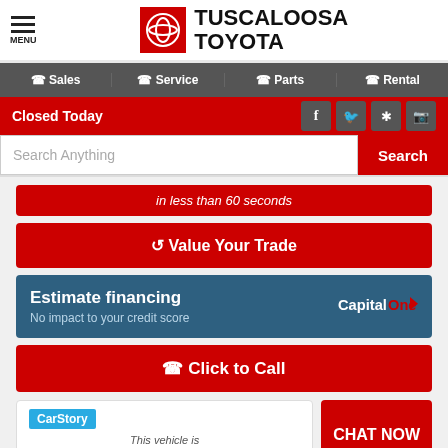[Figure (logo): Tuscaloosa Toyota dealership logo with Toyota red circle emblem and text TUSCALOOSA TOYOTA]
Sales | Service | Parts | Rental
Closed Today
Search Anything | Search
in less than 60 seconds
🔄 Value Your Trade
Estimate financing
No impact to your credit score
📞 Click to Call
[Figure (logo): CarStory badge with text: This vehicle is FUEL EFFICIENT]
CHAT NOW